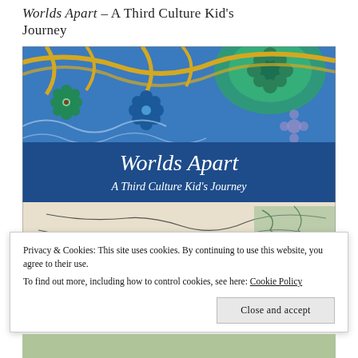Worlds Apart – A Third Culture Kid's Journey
[Figure (illustration): Book cover for 'Worlds Apart: A Third Culture Kid's Journey' showing decorative blue tile pattern at top with floral motifs in blue, green, yellow and white, a blue band with the title in white italic text, and a lower half showing a vintage map of Afghanistan.]
Privacy & Cookies: This site uses cookies. By continuing to use this website, you agree to their use.
To find out more, including how to control cookies, see here: Cookie Policy
Close and accept